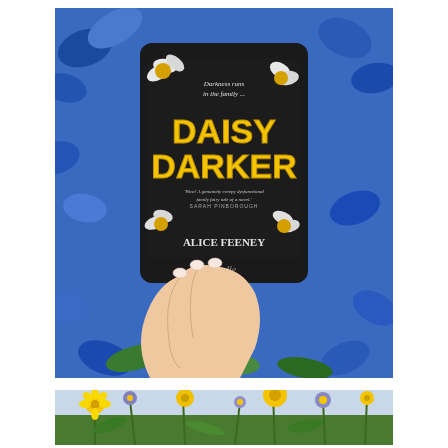[Figure (photo): A hand holding a Kindle e-reader displaying the book cover of 'Daisy Darker' by Alice Feeney. The cover shows large yellow block text 'DAISY DARKER' with daisy flowers on a dark background, tagline 'Darkness runs in the family...' at top, and a quote 'Wow! A genuinely creepy dysfunctional family fairy tale of a novel. - SARAH PINBOROUGH'. The background is filled with vivid blue flowers and green foliage.]
[Figure (photo): A field of yellow and purple/blue wildflowers with green stems and leaves, photographed from above against a bright sky.]